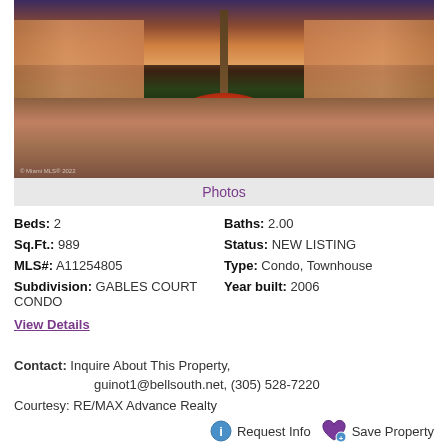[Figure (photo): Exterior photo of a multi-story condominium complex at dusk/sunset, with palm trees, brick walkway, and flower garden in the center courtyard. Two tan/terra-cotta colored buildings flank the walkway.]
Photos
Beds: 2
Baths: 2.00
Sq.Ft.: 989
Status: NEW LISTING
MLS#: A11254805
Type: Condo, Townhouse
Subdivision: GABLES COURT CONDO
Year built: 2006
View Details
Contact: Inquire About This Property, guinot1@bellsouth.net, (305) 528-7220
Courtesy: RE/MAX Advance Realty
Request Info
Save Property